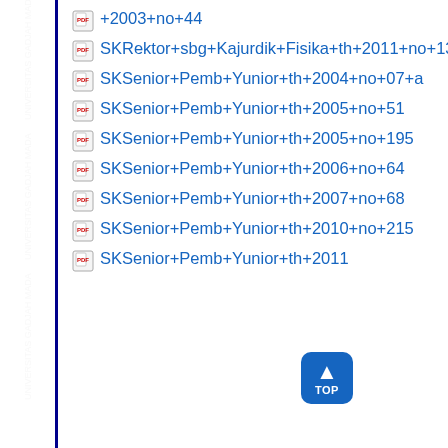+2003+no+44
SKRektor+sbg+Kajurdik+Fisika+th+2011+no+1322
SKSenior+Pemb+Yunior+th+2004+no+07+a
SKSenior+Pemb+Yunior+th+2005+no+51
SKSenior+Pemb+Yunior+th+2005+no+195
SKSenior+Pemb+Yunior+th+2006+no+64
SKSenior+Pemb+Yunior+th+2007+no+68
SKSenior+Pemb+Yunior+th+2010+no+215
SKSenior+Pemb+Yunior+th+2011